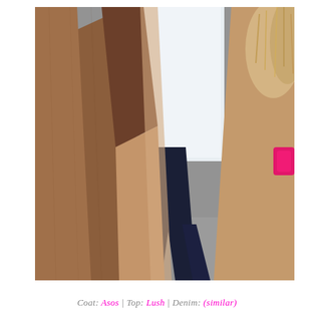[Figure (photo): Close-up photo of a person wearing a patchwork suede coat in shades of brown, tan, and dark brown with fur trim visible at upper right, a white blouse, and dark navy flared denim jeans. The background is a grey pavement/sidewalk.]
Coat: Asos | Top: Lush | Denim: (similar)